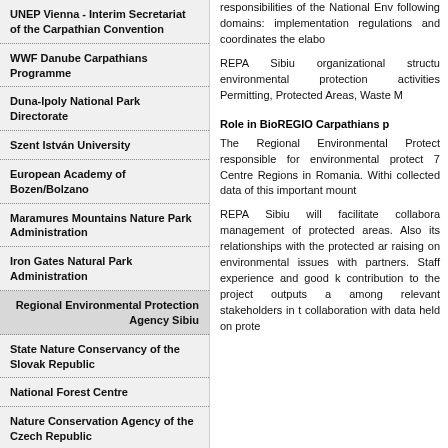UNEP Vienna - Interim Secretariat of the Carpathian Convention
WWF Danube Carpathians Programme
Duna-Ipoly National Park Directorate
Szent István University
European Academy of Bozen/Bolzano
Maramures Mountains Nature Park Administration
Iron Gates Natural Park Administration
Regional Environmental Protection Agency Sibiu
State Nature Conservancy of the Slovak Republic
National Forest Centre
Nature Conservation Agency of the Czech Republic
Environmental Information
responsibilities of the National Env following domains: implementation regulations and coordinates the elabo
REPA Sibiu organizational structu environmental protection activities Permitting, Protected Areas, Waste M
Role in BioREGIO Carpathians p
The Regional Environmental Protect responsible for environmental protect 7 Centre Regions in Romania. Withi collected data of this important mount
REPA Sibiu will facilitate collabora management of protected areas. Also its relationships with the protected ar raising on environmental issues with partners. Staff experience and good k contribution to the project outputs a among relevant stakeholders in t collaboration with data held on prote